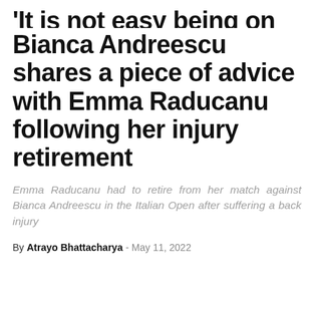'It is not easy being on tour,' Bianca Andreescu shares a piece of advice with Emma Raducanu following her injury retirement
Emma Raducanu had to retire from her match against Bianca Andreescu in the Italian Open after suffering a back injury
By Atrayo Bhattacharya - May 11, 2022